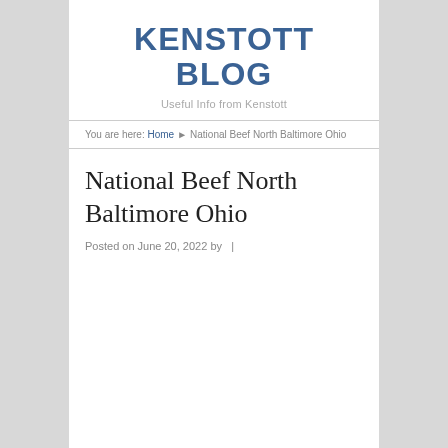KENSTOTT BLOG
Useful Info from Kenstott
You are here: Home ▶ National Beef North Baltimore Ohio
National Beef North Baltimore Ohio
Posted on June 20, 2022 by  |